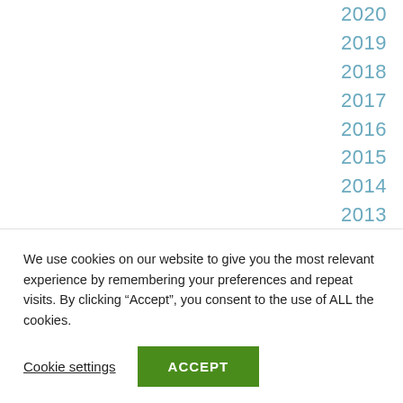2020
2019
2018
2017
2016
2015
2014
2013
2012
2011
2010
2009
We use cookies on our website to give you the most relevant experience by remembering your preferences and repeat visits. By clicking “Accept”, you consent to the use of ALL the cookies.
Cookie settings
ACCEPT